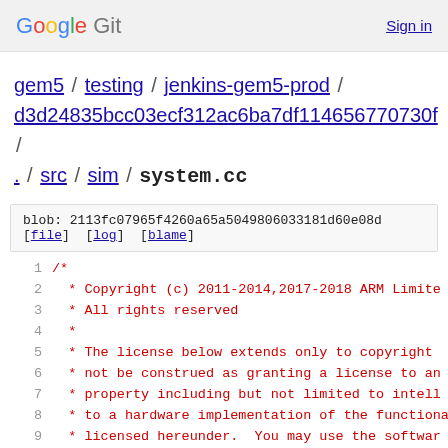Google Git  Sign in
gem5 / testing / jenkins-gem5-prod / d3d24835bcc03ecf312ac6ba7df114656770730f / . / src / sim / system.cc
blob: 2113fc07965f4260a65a5049806033181d60e08d
[file] [log] [blame]
1  /*
2   * Copyright (c) 2011-2014,2017-2018 ARM Limite
3   * All rights reserved
4   *
5   * The license below extends only to copyright
6   * not be construed as granting a license to an
7   * property including but not limited to intell
8   * to a hardware implementation of the functiona
9   * licensed hereunder.  You may use the softwar
10  * terms below provided that you ensure tha